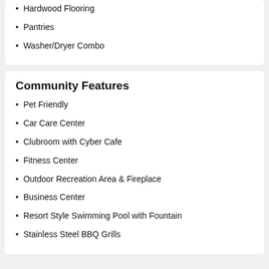Hardwood Flooring
Pantries
Washer/Dryer Combo
Community Features
Pet Friendly
Car Care Center
Clubroom with Cyber Cafe
Fitness Center
Outdoor Recreation Area & Fireplace
Business Center
Resort Style Swimming Pool with Fountain
Stainless Steel BBQ Grills